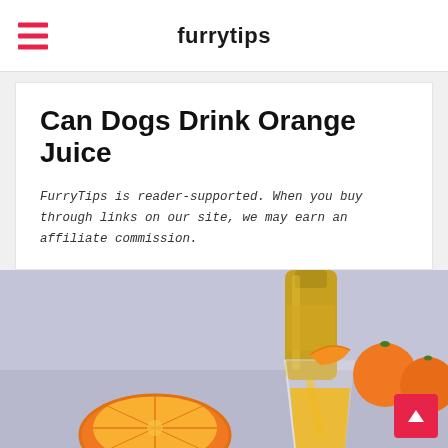furrytips
Can Dogs Drink Orange Juice
FurryTips is reader-supported. When you buy through links on our site, we may earn an affiliate commission.
[Figure (photo): Orange juice being poured from a bottle into a glass, with whole oranges and a halved orange in the background on a gray surface.]